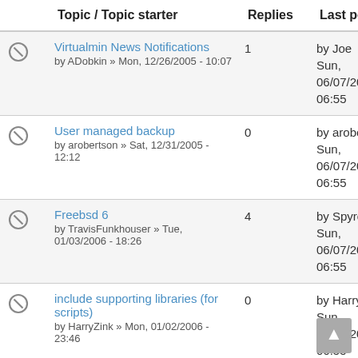|  | Topic / Topic starter | Replies | Last post |
| --- | --- | --- | --- |
|  | Virtualmin News Notifications
by ADobkin » Mon, 12/26/2005 - 10:07 | 1 | by Joe
Sun, 06/07/2009 - 06:55 |
|  | User managed backup
by arobertson » Sat, 12/31/2005 - 12:12 | 0 | by arobertson
Sun, 06/07/2009 - 06:55 |
|  | Freebsd 6
by TravisFunkhouser » Tue, 01/03/2006 - 18:26 | 4 | by Spyro
Sun, 06/07/2009 - 06:55 |
|  | include supporting libraries (for scripts)
by HarryZink » Mon, 01/02/2006 - 23:46 | 0 | by HarryZink
Sun, 06/07/2009 - 06:55 |